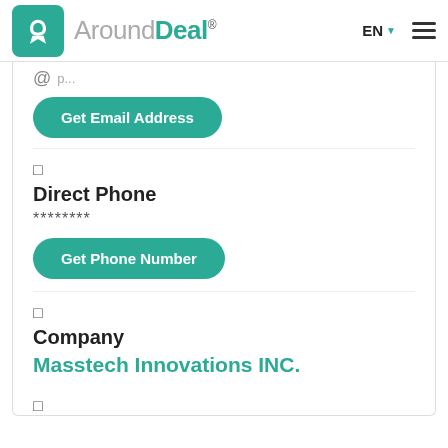AroundDeal® EN ☰
@ [email icon partial]
Get Email Address
□
Direct Phone
********
Get Phone Number
□
Company
Masstech Innovations INC.
□